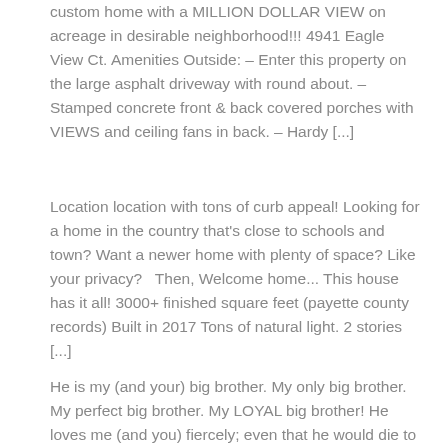custom home with a MILLION DOLLAR VIEW on acreage in desirable neighborhood!!! 4941 Eagle View Ct. Amenities Outside: – Enter this property on the large asphalt driveway with round about. – Stamped concrete front & back covered porches with VIEWS and ceiling fans in back. – Hardy [...]
Location location with tons of curb appeal! Looking for a home in the country that's close to schools and town? Want a newer home with plenty of space? Like your privacy?   Then, Welcome home... This house has it all! 3000+ finished square feet (payette county records) Built in 2017 Tons of natural light. 2 stories [...]
He is my (and your) big brother. My only big brother. My perfect big brother. My LOYAL big brother! He loves me (and you) fiercely; even that he would die to save me